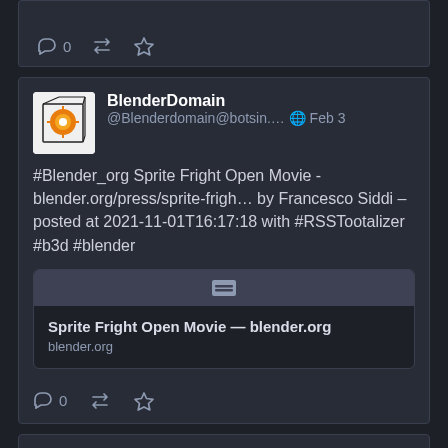[Figure (screenshot): Top of a social media post card showing action icons (reply 0, retweet, star) partially visible]
BlenderDomain @Blenderdomain@botsin.... Feb 3
#Blender_org Sprite Fright Open Movie - blender.org/press/sprite-frigh… by Francesco Siddi – posted at 2021-11-01T16:17:18 with #RSSTootalizer #b3d #blender
[Figure (screenshot): Link preview card: icon bar with document icon, title 'Sprite Fright Open Movie — blender.org', url 'blender.org']
0 (reply) retweet star action icons
Show older
RESOURCES
WHAT IS MASTODON?
BOTSIN.SPACE
Terms of service
Privacy policy
[Figure (logo): Mastodon 'm' logo in a rounded square]
About
v3.5.2